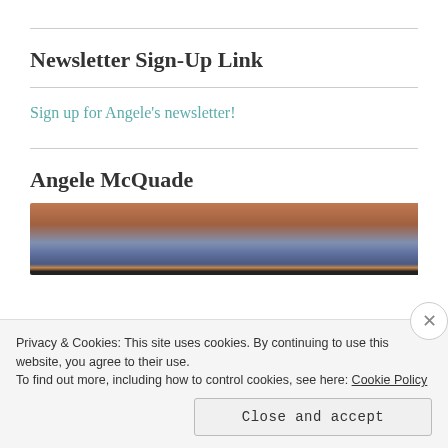Newsletter Sign-Up Link
Sign up for Angele's newsletter!
Angele McQuade
[Figure (photo): Partial photo of a person near a brick wall, partially obscured by a cookie consent banner]
Privacy & Cookies: This site uses cookies. By continuing to use this website, you agree to their use.
To find out more, including how to control cookies, see here: Cookie Policy
Close and accept